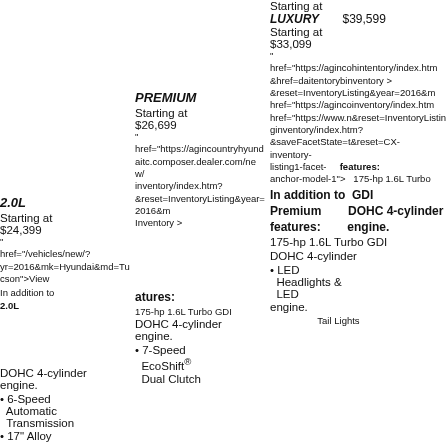Starting at
LUXURY $39,599
Starting at
$33,099
"
href="https://agincohintentory/index.htm"
PREMIUM
Starting at
$26,699
"
href="https://agincountryhyundaitc.composer.dealer.com/new/inventory/index.htm?"
&reset=InventoryListing&year=2016&make=Hyundai&mo
Inventory >
2.0L
Starting at
$24,399
"
href="/vehicles/new/?yr=2016&mk=Hyundai&md=Tucson">View
Inventory >
In addition to 2.0L
features:
175-hp 1.6L Turbo GDI DOHC 4-cylinder engine.
6-Speed Automatic Transmission
17" Alloy
7-Speed EcoShift® Dual Clutch
href="https://www.n&reset=InventoryListing&saveFacetState=t3&lastFacetInteracted=inventory-listing1-facet-anchor-model-1">
In addition to Premium features:
175-hp 1.6L Turbo GDI DOHC 4-cylinder engine.
href="https://agincoinventory/index.htm&reset=InventoryCX-inventory-listing features: 175-hp 1.6L Turbo GDI DOHC 4-cylinder engine.
LED Headlights & LED Tail Lights